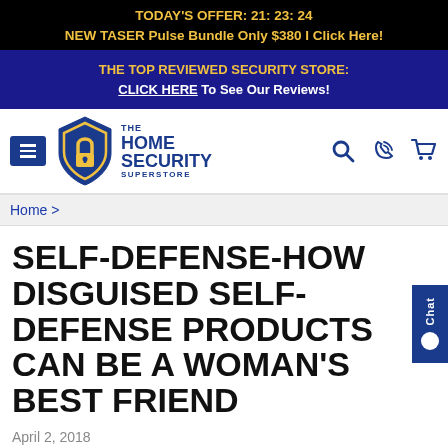TODAY'S OFFER: 21: 23: 24
NEW TASER Pulse Bundle Only $380 I Click Here!
THE TOP REVIEWED SECURITY STORE:
CLICK HERE To See Our Reviews!
[Figure (logo): The Home Security Superstore logo with shield icon]
Home >
SELF-DEFENSE-HOW DISGUISED SELF-DEFENSE PRODUCTS CAN BE A WOMAN'S BEST FRIEND
April 2, 2018
It is no longer a secret that women are attacked nearly 9 times more often than men. That is just one of the reasons why self-defense products manufacturers have started